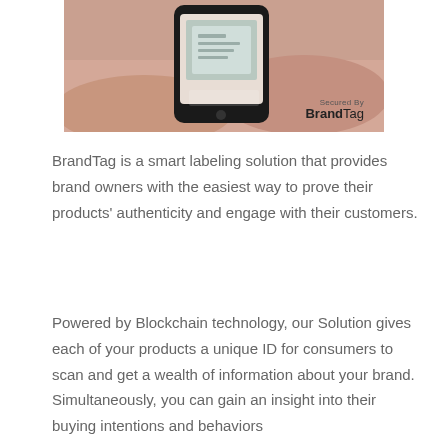[Figure (photo): A person holding a smartphone scanning a product label. A 'Secured By BrandTag' badge is overlaid in the bottom-right corner of the image.]
BrandTag is a smart labeling solution that provides brand owners with the easiest way to prove their products' authenticity and engage with their customers.
Powered by Blockchain technology, our Solution gives each of your products a unique ID for consumers to scan and get a wealth of information about your brand. Simultaneously, you can gain an insight into their buying intentions and behaviors